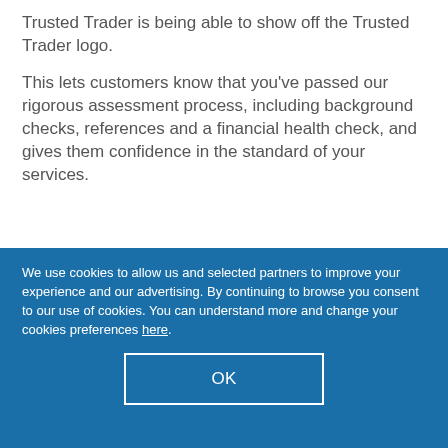Trusted Trader is being able to show off the Trusted Trader logo.
This lets customers know that you've passed our rigorous assessment process, including background checks, references and a financial health check, and gives them confidence in the standard of your services.
We use cookies to allow us and selected partners to improve your experience and our advertising. By continuing to browse you consent to our use of cookies. You can understand more and change your cookies preferences here.
OK